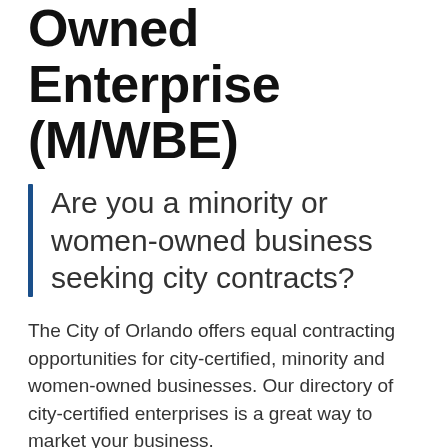Owned Enterprise (M/WBE)
Are you a minority or women-owned business seeking city contracts?
The City of Orlando offers equal contracting opportunities for city-certified, minority and women-owned businesses. Our directory of city-certified enterprises is a great way to market your business.